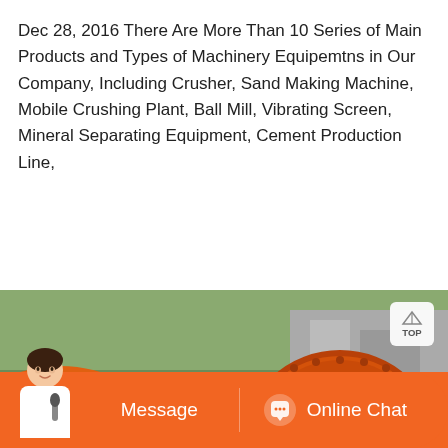Dec 28, 2016 There Are More Than 10 Series of Main Products and Types of Machinery Equipemtns in Our Company, Including Crusher, Sand Making Machine, Mobile Crushing Plant, Ball Mill, Vibrating Screen, Mineral Separating Equipment, Cement Production Line,
[Figure (photo): Large orange ball mill industrial machinery on a construction/mining site with workers visible in the background.]